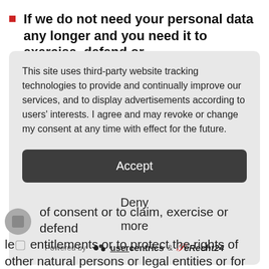If we do not need your personal data any longer and you need it to exercise, defend or
This site uses third-party website tracking technologies to provide and continually improve our services, and to display advertisements according to users' interests. I agree and may revoke or change my consent at any time with effect for the future.
Accept
Deny
more
Powered by usercentrics & eRecht24
of consent or to claim, exercise or defend legal entitlements or to protect the rights of other natural persons or legal entities or for